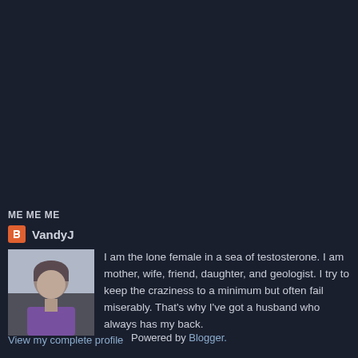ME ME ME
VandyJ
I am the lone female in a sea of testosterone. I am mother, wife, friend, daughter, and geologist. I try to keep the craziness to a minimum but often fail miserably. That's why I've got a husband who always has my back.
View my complete profile
Powered by Blogger.